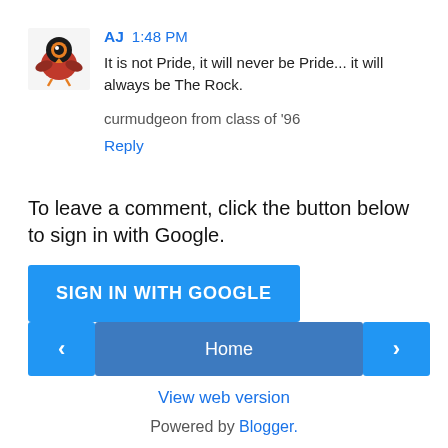[Figure (illustration): Blog avatar icon showing a cartoon bird/bug character in red and black with an orange eye, against a white square background]
AJ 1:48 PM
It is not Pride, it will never be Pride... it will always be The Rock.
curmudgeon from class of '96
Reply
To leave a comment, click the button below to sign in with Google.
[Figure (other): Blue button labeled SIGN IN WITH GOOGLE]
[Figure (other): Navigation bar with left arrow button, Home button, and right arrow button]
View web version
Powered by Blogger.